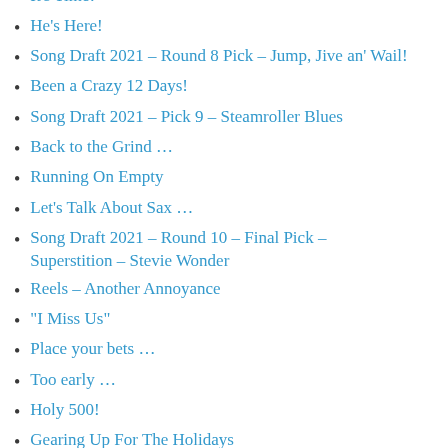It's Time!
He's Here!
Song Draft 2021 – Round 8 Pick – Jump, Jive an' Wail!
Been a Crazy 12 Days!
Song Draft 2021 – Pick 9 – Steamroller Blues
Back to the Grind …
Running On Empty
Let's Talk About Sax …
Song Draft 2021 – Round 10 – Final Pick – Superstition – Stevie Wonder
Reels – Another Annoyance
“I Miss Us”
Place your bets …
Too early …
Holy 500!
Gearing Up For The Holidays
The Quiet/Loud Game
She’s Mad!
A Holiday Tradition
A Week In Review
Christmas “Recycling” Project
Physically Unfit
Do You Hear What She Hears?
Inspired by Blogmas